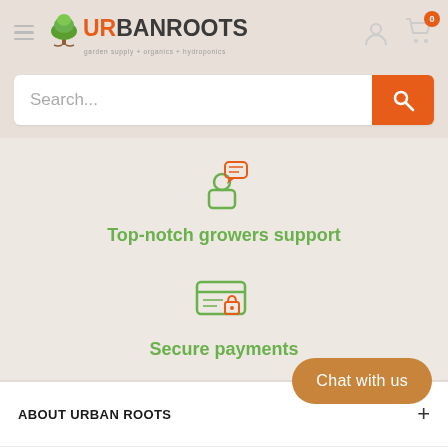[Figure (logo): Urban Roots logo with tree icon and tagline: garden supply + organics + hydroponics]
Search...
[Figure (illustration): Orange and green icon of a person with a speech bubble (support icon)]
Top-notch growers support
[Figure (illustration): Green and orange icon of a secure payment card with a padlock]
Secure payments
ABOUT URBAN ROOTS
FOOTER MENU
Chat with us